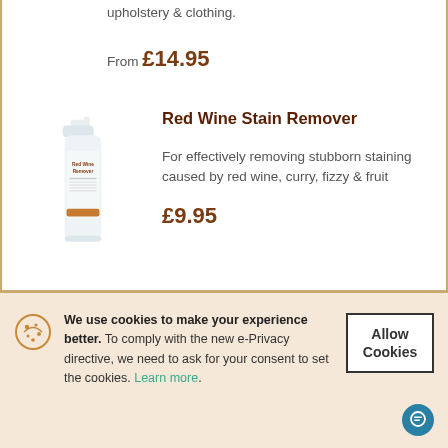upholstery & clothing.
From £14.95
Red Wine Stain Remover
[Figure (photo): White spray bottle of Red Wine Stain Remover product]
For effectively removing stubborn staining caused by red wine, curry, fizzy & fruit
£9.95
We use cookies to make your experience better. To comply with the new e-Privacy directive, we need to ask for your consent to set the cookies. Learn more.